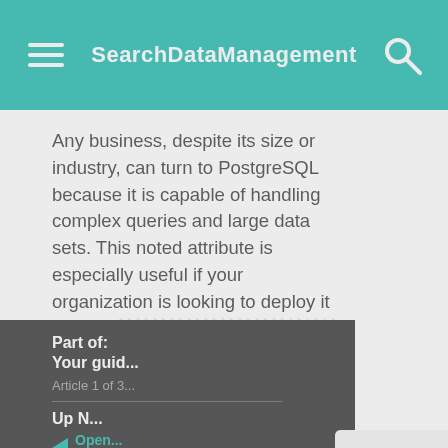SearchDataManagement
Any business, despite its size or industry, can turn to PostgreSQL because it is capable of handling complex queries and large data sets. This noted attribute is especially useful if your organization is looking to deploy it for com[plex workloads. What really holds Post[greSQL back is it] tools like paralle[l processing and third-] party plugins.
Part of:
Your guid[e to...]
Article 1 of 3[...]
Up N[ext]
Open[Source PostgreSQL guide...]
We value your privacy.
TechTarget and its partners employ cookies to improve your experience on our site, to analyze traffic and performance, and to serve personalized content and advertising that are relevant to your professional interests. You can manage your settings at any time. Please view our Privacy Policy for more information